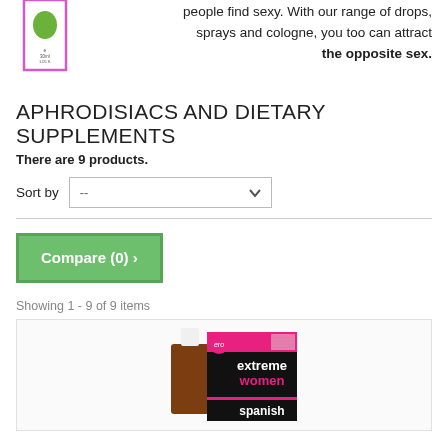people find sexy. With our range of drops, sprays and cologne, you too can attract the opposite sex.
APHRODISIACS AND DIETARY SUPPLEMENTS
There are 9 products.
Sort by  --
Compare (0) >
Showing 1 - 9 of 9 items
[Figure (photo): Product photo showing a bottle of 'extreme women spanish' drops with pink and black packaging]